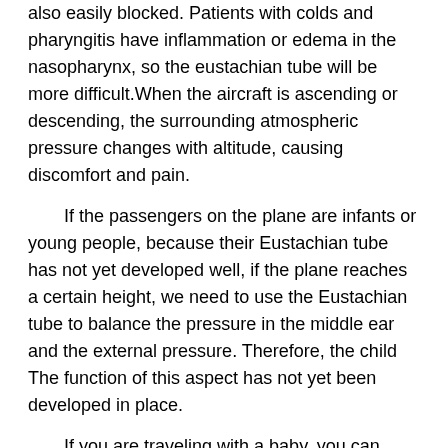also easily blocked. Patients with colds and pharyngitis have inflammation or edema in the nasopharynx, so the eustachian tube will be more difficult.When the aircraft is ascending or descending, the surrounding atmospheric pressure changes with altitude, causing discomfort and pain.
If the passengers on the plane are infants or young people, because their Eustachian tube has not yet developed well, if the plane reaches a certain height, we need to use the Eustachian tube to balance the pressure in the middle ear and the external pressure. Therefore, the child The function of this aspect has not yet been developed in place.
If you are traveling with a baby, you can breastfeed the baby during take-off and landing. If feeding is not convenient, you can also use a bottle to fill a delicious drink to keep the child swallowing and maintain the pressure balance inside and outside the tympanic membrane, so as to avoid the child's pain And crying.